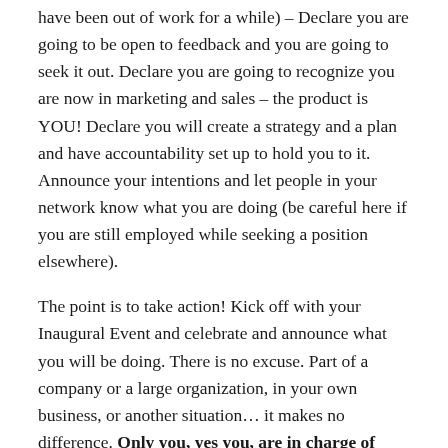have been out of work for a while) – Declare you are going to be open to feedback and you are going to seek it out. Declare you are going to recognize you are now in marketing and sales – the product is YOU! Declare you will create a strategy and a plan and have accountability set up to hold you to it. Announce your intentions and let people in your network know what you are doing (be careful here if you are still employed while seeking a position elsewhere).
The point is to take action! Kick off with your Inaugural Event and celebrate and announce what you will be doing. There is no excuse. Part of a company or a large organization, in your own business, or another situation… it makes no difference. Only you, yes you, are in charge of taking action.
Use the comments area and make a statement right now